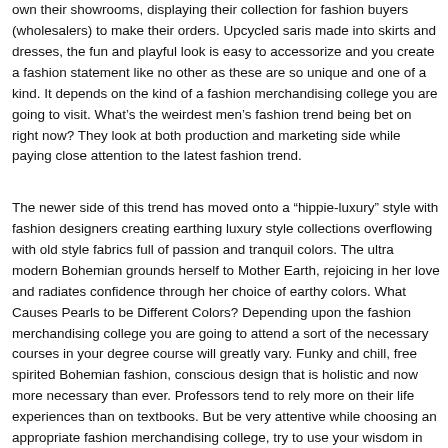own their showrooms, displaying their collection for fashion buyers (wholesalers) to make their orders. Upcycled saris made into skirts and dresses, the fun and playful look is easy to accessorize and you create a fashion statement like no other as these are so unique and one of a kind. It depends on the kind of a fashion merchandising college you are going to visit. What's the weirdest men's fashion trend being bet on right now? They look at both production and marketing side while paying close attention to the latest fashion trend.
The newer side of this trend has moved onto a “hippie-luxury” style with fashion designers creating earthing luxury style collections overflowing with old style fabrics full of passion and tranquil colors. The ultra modern Bohemian grounds herself to Mother Earth, rejoicing in her love and radiates confidence through her choice of earthy colors. What Causes Pearls to be Different Colors? Depending upon the fashion merchandising college you are going to attend a sort of the necessary courses in your degree course will greatly vary. Funky and chill, free spirited Bohemian fashion, conscious design that is holistic and now more necessary than ever. Professors tend to rely more on their life experiences than on textbooks. But be very attentive while choosing an appropriate fashion merchandising college, try to use your wisdom in this uneasy task, because it may define your future profession and even you life. You should do your research before entering the fashion merchandising